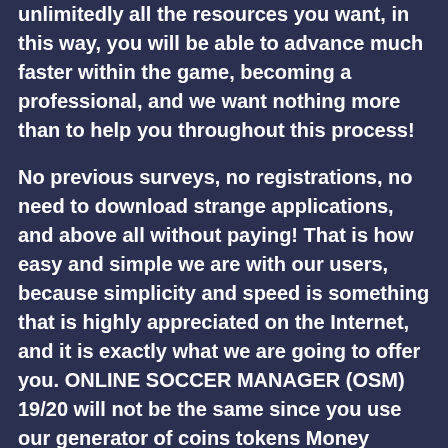unlimitedly all the resources you want, in this way, you will be able to advance much faster within the game, becoming a professional, and we want nothing more than to help you throughout this process!
No previous surveys, no registrations, no need to download strange applications, and above all without paying! That is how easy and simple we are with our users, because simplicity and speed is something that is highly appreciated on the Internet, and it is exactly what we are going to offer you. ONLINE SOCCER MANAGER (OSM) 19/20 will not be the same since you use our generator of coins tokens Money because you will become the envy of all your friends and most important of all, without spending